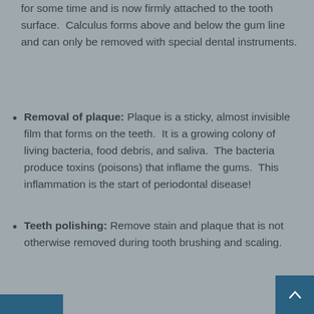for some time and is now firmly attached to the tooth surface.  Calculus forms above and below the gum line and can only be removed with special dental instruments.
Removal of plaque: Plaque is a sticky, almost invisible film that forms on the teeth.  It is a growing colony of living bacteria, food debris, and saliva.  The bacteria produce toxins (poisons) that inflame the gums.  This inflammation is the start of periodontal disease!
Teeth polishing: Remove stain and plaque that is not otherwise removed during tooth brushing and scaling.